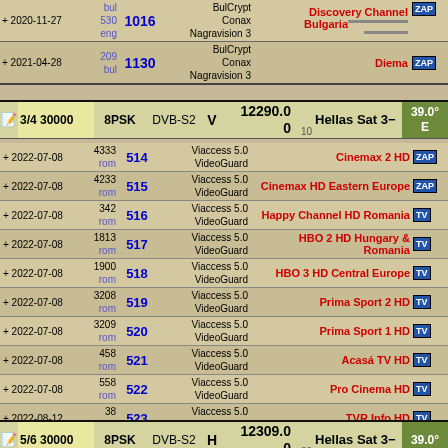| Date | Num/Lang | SID |  | Encryption | Channel Name |  |
| --- | --- | --- | --- | --- | --- | --- |
| + 2020-11-27 | bul
530
eng | 1016 |  | BulCrypt
Conax
Nagravision 3 | Discovery Channel Bulgaria | ZAP |
| + 2021-04-28 | 209
bul | 1130 |  | BulCrypt
Conax
Nagravision 3 | Diema | ZAP |
| Edit | FEC SR | Modulation | System | Pol | Frequency | Sat Num | Satellite | Degree |
| --- | --- | --- | --- | --- | --- | --- | --- | --- |
| edit | 3/4 30000 | 8PSK | DVB-S2 | V | 12290.0
0 | 10 | Hellas Sat 3- | 39.0° E |
| Date | Num/Lang | SID |  | Encryption | Channel Name |  |
| --- | --- | --- | --- | --- | --- | --- |
| + 2022-07-08 | 4333
rom | 514 |  | Viaccess 5.0
VideoGuard | Cinemax 2 HD | ZAP |
| + 2022-07-08 | 4233
rom | 515 |  | Viaccess 5.0
VideoGuard | Cinemax HD Eastern Europe | ZAP |
| + 2022-07-08 | 342
rom | 516 |  | Viaccess 5.0
VideoGuard | Happy Channel HD Romania | TV |
| + 2022-07-08 | 1813
rom | 517 |  | Viaccess 5.0
VideoGuard | HBO 2 HD Hungary & Romania | TV |
| + 2022-07-08 | 1900
rom | 518 |  | Viaccess 5.0
VideoGuard | HBO 3 HD Central Europe | TV |
| + 2022-07-08 | 3208
rom | 519 |  | Viaccess 5.0
VideoGuard | Prima Sport 2 HD | TV |
| + 2022-07-08 | 3209
rom | 520 |  | Viaccess 5.0
VideoGuard | Prima Sport 1 HD | TV |
| + 2022-07-08 | 458
rom | 521 |  | Viaccess 5.0
VideoGuard | Acasá TV HD | TV |
| + 2022-07-08 | 558
rom | 522 |  | Viaccess 5.0
VideoGuard | Pro Cinema HD | TV |
| + 2022-08-12 | 38
rom | 523 |  | Viaccess 5.0
VideoGuard | TVR Info HD | TV |
| Edit | FEC SR | Modulation | System | Pol | Frequency | Sat Num | Satellite | Degree |
| --- | --- | --- | --- | --- | --- | --- | --- | --- |
| edit | 5/6 30000 | 8PSK | DVB-S2 | H | 12309.0
0 | 30 | Hellas Sat 3- | 39.0° |